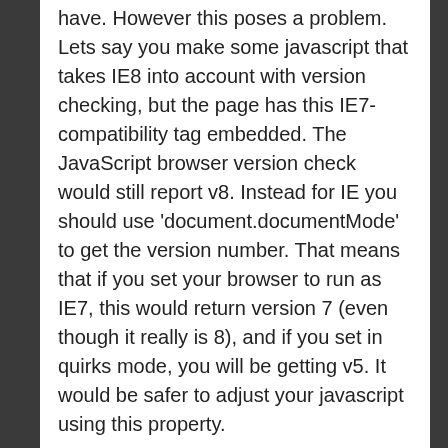have. However this poses a problem. Lets say you make some javascript that takes IE8 into account with version checking, but the page has this IE7-compatibility tag embedded. The JavaScript browser version check would still report v8. Instead for IE you should use 'document.documentMode' to get the version number. That means that if you set your browser to run as IE7, this would return version 7 (even though it really is 8), and if you set in quirks mode, you will be getting v5. It would be safer to adjust your javascript using this property.
I ran some few tests on the fresh IE8 beta1. It still looks pretty much like IE7. This blog runs with only one minor problem. I have a gallery page that relies on AjaxControlToolkit, and this